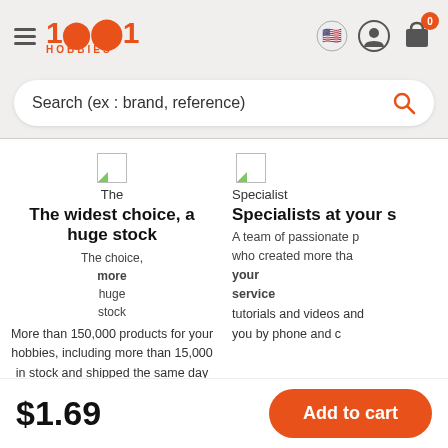1001 HOBBIES - navigation header with hamburger menu, logo, flag icon, user icon, cart icon with badge 0
Search (ex : brand, reference)
[Figure (illustration): Small broken image icon placeholder for 'The widest choice, a huge stock' section]
The widest choice, a huge stock
The choice, a huge stock
More than 150,000 products for your hobbies, including more than 15,000 in stock and shipped the same day
[Figure (illustration): Small broken image icon placeholder for 'Specialists at your service' section]
Specialists at your service
A team of passionate people who created more than tutorials and videos and you by phone and c
$1.69
Add to cart